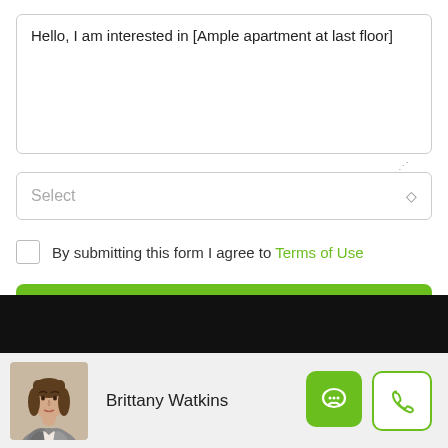Hello, I am interested in [Ample apartment at last floor]
Select
By submitting this form I agree to Terms of Use
Send Message
Brittany Watkins